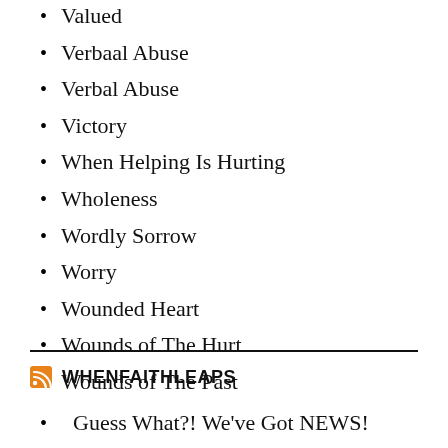Valued
Verbaal Abuse
Verbal Abuse
Victory
When Helping Is Hurting
Wholeness
Wordly Sorrow
Worry
Wounded Heart
Wounds of The Hurt
Wounds of The Past
WHENFAITHLEAPS
Guess What?! We've Got NEWS!